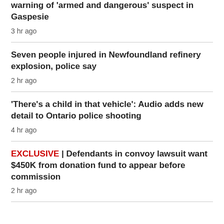warning of 'armed and dangerous' suspect in Gaspesie
3 hr ago
Seven people injured in Newfoundland refinery explosion, police say
2 hr ago
'There's a child in that vehicle': Audio adds new detail to Ontario police shooting
4 hr ago
EXCLUSIVE | Defendants in convoy lawsuit want $450K from donation fund to appear before commission
2 hr ago